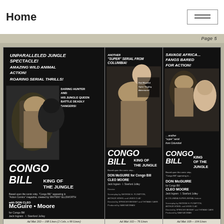Home
Page 5
[Figure (photo): Movie advertisement for 'Congo Bill King of the Jungle' - large format ad showing Don McGuire and Cleo Moore. Text: UNPARALLELED JUNGLE SPECTACLE! AMAZING WILD ANIMAL ACTION! ROARING SERIAL THRILLS! DARING HUNTER AND HIS JUNGLE QUEEN BATTLE DEADLY DANGERS! with Don McGuire Cleo Moore, Jack Ingram, I. Stanford Jolley. Ad Mat 202— 198 Lines (2 Cols. x 99 Lines)]
[Figure (photo): Movie advertisement for 'Congo Bill King of the Jungle' - medium vertical ad. ANOTHER SUPER SERIAL FROM COLUMBIA! with Don McGuire for Congo Bill, Cleo Moore, Jack Ingram, I. Stanford Jolley. Ad Mat 102— 76 Lines]
[Figure (photo): Movie advertisement for 'Congo Bill King of the Jungle' - right column ad. SAVAGE AFRICA... FANGS BARED FOR ACTION! another super serial from Columbia! with Don McGuire for Congo Bill, Cleo Moore, Jack Ingram, I. Stanford Jolley. Ad Mat 103— 104 Lines]